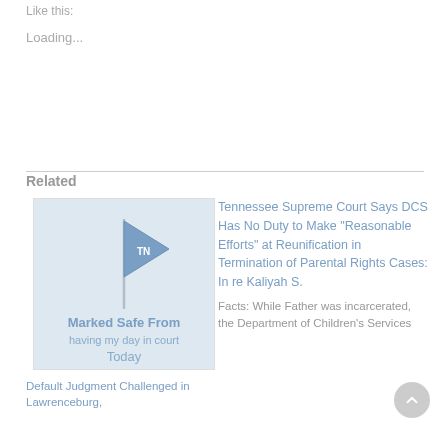Like this:
Loading...
Related
[Figure (illustration): A 'Marked Safe From having my day in court Today' meme image with a Tennessee flag pennant graphic]
Default Judgment Challenged in Lawrenceburg,
Tennessee Supreme Court Says DCS Has No Duty to Make "Reasonable Efforts" at Reunification in Termination of Parental Rights Cases: In re Kaliyah S.
Facts: While Father was incarcerated, the Department of Children's Services